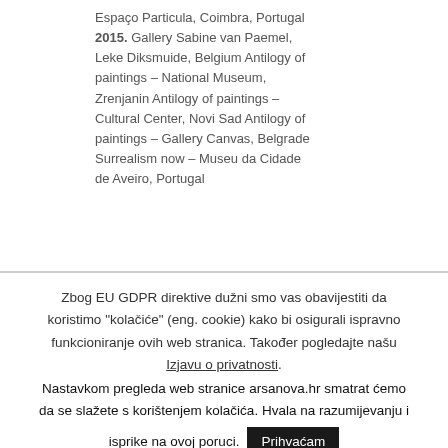Espaço Particula, Coimbra, Portugal 2015. Gallery Sabine van Paemel, Leke Diksmuide, Belgium Antilogy of paintings – National Museum, Zrenjanin Antilogy of paintings – Cultural Center, Novi Sad Antilogy of paintings – Gallery Canvas, Belgrade Surrealism now – Museu da Cidade de Aveiro, Portugal
Zbog EU GDPR direktive dužni smo vas obavijestiti da koristimo "kolačiće" (eng. cookie) kako bi osigurali ispravno funkcioniranje ovih web stranica. Također pogledajte našu Izjavu o privatnosti. Nastavkom pregleda web stranice arsanova.hr smatrat ćemo da se slažete s korištenjem kolačića. Hvala na razumijevanju i isprike na ovoj poruci. Prihvaćam